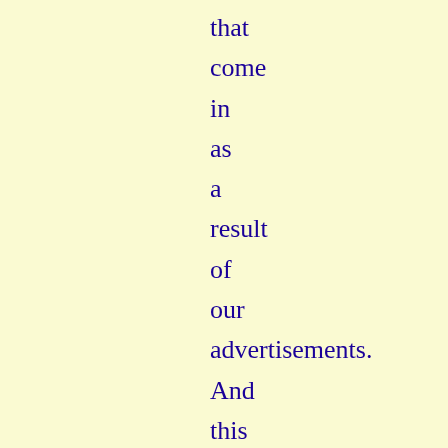that come in as a result of our advertisements. And this is why we